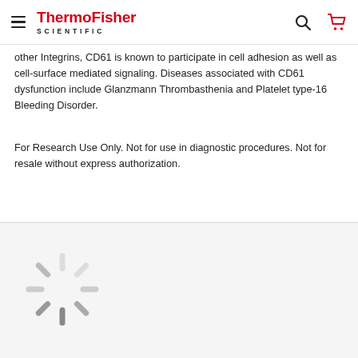ThermoFisher SCIENTIFIC
other Integrins, CD61 is known to participate in cell adhesion as well as cell-surface mediated signaling. Diseases associated with CD61 dysfunction include Glanzmann Thrombasthenia and Platelet type-16 Bleeding Disorder.
For Research Use Only. Not for use in diagnostic procedures. Not for resale without express authorization.
[Figure (other): Loading spinner graphic (gray radial lines indicating content loading)]